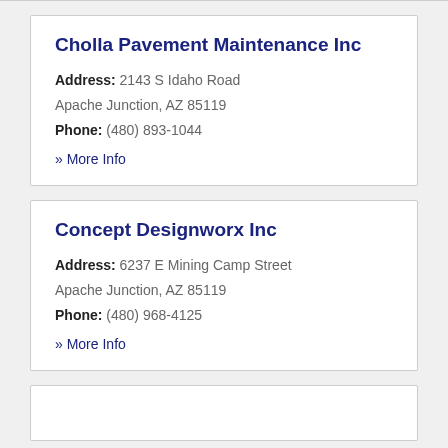Cholla Pavement Maintenance Inc
Address: 2143 S Idaho Road
Apache Junction, AZ 85119
Phone: (480) 893-1044
» More Info
Concept Designworx Inc
Address: 6237 E Mining Camp Street
Apache Junction, AZ 85119
Phone: (480) 968-4125
» More Info